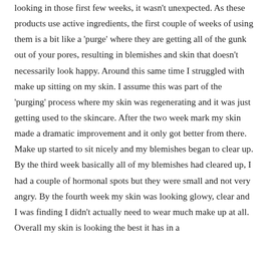looking in those first few weeks, it wasn't unexpected. As these products use active ingredients, the first couple of weeks of using them is a bit like a 'purge' where they are getting all of the gunk out of your pores, resulting in blemishes and skin that doesn't necessarily look happy. Around this same time I struggled with make up sitting on my skin. I assume this was part of the 'purging' process where my skin was regenerating and it was just getting used to the skincare. After the two week mark my skin made a dramatic improvement and it only got better from there. Make up started to sit nicely and my blemishes began to clear up. By the third week basically all of my blemishes had cleared up, I had a couple of hormonal spots but they were small and not very angry. By the fourth week my skin was looking glowy, clear and I was finding I didn't actually need to wear much make up at all. Overall my skin is looking the best it has in a